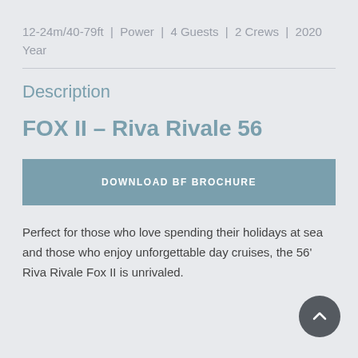12-24m/40-79ft  |  Power  |  4 Guests  |  2 Crews  |  2020 Year
Description
FOX II – Riva Rivale 56
DOWNLOAD BF BROCHURE
Perfect for those who love spending their holidays at sea and those who enjoy unforgettable day cruises, the 56' Riva Rivale Fox II is unrivaled.